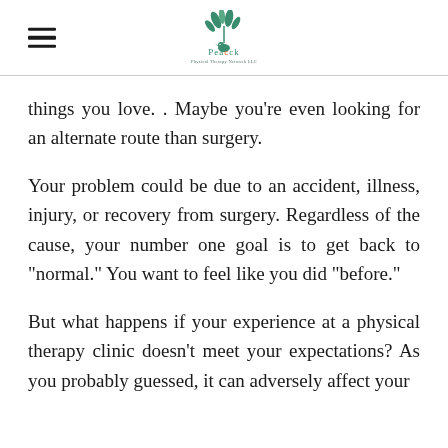Peacock Physical Therapy Network LLC
things you love. . Maybe you’re even looking for an alternate route than surgery.
Your problem could be due to an accident, illness, injury, or recovery from surgery. Regardless of the cause, your number one goal is to get back to “normal.” You want to feel like you did “before.”
But what happens if your experience at a physical therapy clinic doesn’t meet your expectations? As you probably guessed, it can adversely affect your